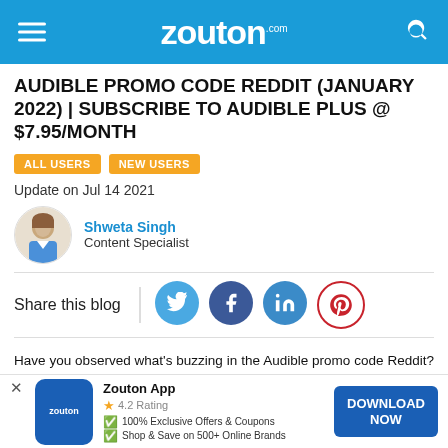zouton.com
AUDIBLE PROMO CODE REDDIT (JANUARY 2022) | SUBSCRIBE TO AUDIBLE PLUS @ $7.95/MONTH
ALL USERS
NEW USERS
Update on Jul 14 2021
Shweta Singh
Content Specialist
Share this blog
Have you observed what's buzzing in the Audible promo code Reddit? If not, kindly be educated about the Audible special deal that rolls out the Audible Plus Subscription for $7.95 only. Subscribe now to get an exclusive audiobook collection for subsequent months!
Audible Promo Code Reddit 2021 | Updated Today
Zouton App
4.2 Rating
100% Exclusive Offers & Coupons
Shop & Save on 500+ Online Brands